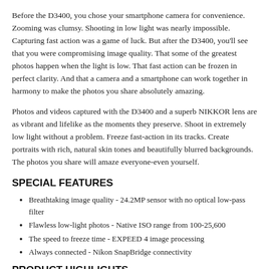Before the D3400, you chose your smartphone camera for convenience. Zooming was clumsy. Shooting in low light was nearly impossible. Capturing fast action was a game of luck. But after the D3400, you'll see that you were compromising image quality. That some of the greatest photos happen when the light is low. That fast action can be frozen in perfect clarity. And that a camera and a smartphone can work together in harmony to make the photos you share absolutely amazing.
Photos and videos captured with the D3400 and a superb NIKKOR lens are as vibrant and lifelike as the moments they preserve. Shoot in extremely low light without a problem. Freeze fast-action in its tracks. Create portraits with rich, natural skin tones and beautifully blurred backgrounds. The photos you share will amaze everyone-even yourself.
SPECIAL FEATURES
Breathtaking image quality - 24.2MP sensor with no optical low-pass filter
Flawless low-light photos - Native ISO range from 100-25,600
The speed to freeze time - EXPEED 4 image processing
Always connected - Nikon SnapBridge connectivity
PRODUCT HIGHLIGHTS